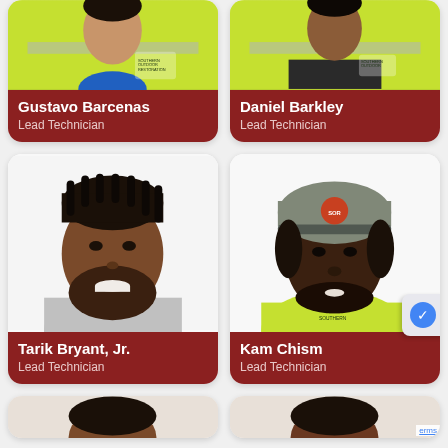[Figure (photo): Headshot of Gustavo Barcenas in yellow high-visibility jacket with Southern Outdoor Restoration logo]
Gustavo Barcenas
Lead Technician
[Figure (photo): Headshot of Daniel Barkley in yellow high-visibility jacket with Southern Outdoor logo]
Daniel Barkley
Lead Technician
[Figure (photo): Headshot of Tarik Bryant Jr. in gray polo shirt, smiling with beard]
Tarik Bryant, Jr.
Lead Technician
[Figure (photo): Headshot of Kam Chism in yellow shirt and gray cap]
Kam Chism
Lead Technician
[Figure (photo): Partially visible headshot of unnamed person at bottom left]
[Figure (photo): Partially visible headshot of unnamed person at bottom right]